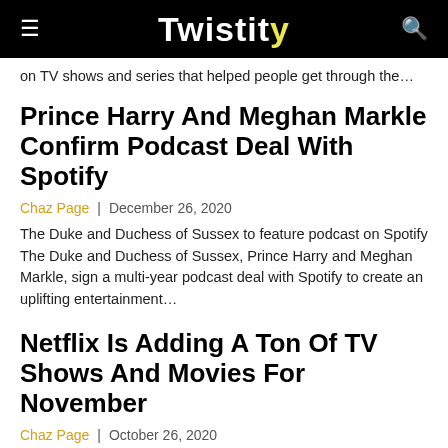Twistity
on TV shows and series that helped people get through the…
Prince Harry And Meghan Markle Confirm Podcast Deal With Spotify
Chaz Page | December 26, 2020
The Duke and Duchess of Sussex to feature podcast on Spotify The Duke and Duchess of Sussex, Prince Harry and Meghan Markle, sign a multi-year podcast deal with Spotify to create an uplifting entertainment…
Netflix Is Adding A Ton Of TV Shows And Movies For November
Chaz Page | October 26, 2020
Netflix announces upcoming releases including newbies and oldies Netflix just announced their new line-up of releases including some original series and movies along with new additions. Netflix will also be adding more holiday-themed